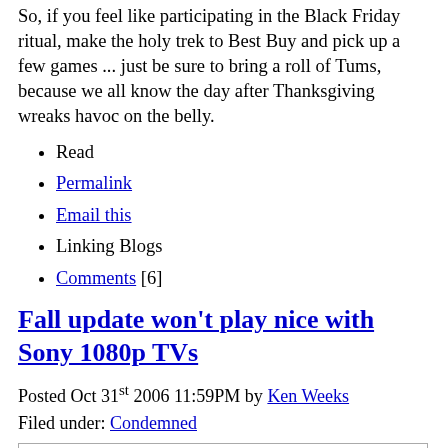So, if you feel like participating in the Black Friday ritual, make the holy trek to Best Buy and pick up a few games ... just be sure to bring a roll of Tums, because we all know the day after Thanksgiving wreaks havoc on the belly.
Read
Permalink
Email this
Linking Blogs
Comments [6]
Fall update won't play nice with Sony 1080p TVs
Posted Oct 31st 2006 11:59PM by Ken Weeks
Filed under: Condemned
[Figure (photo): Image placeholder with broken image icon in top-left corner]